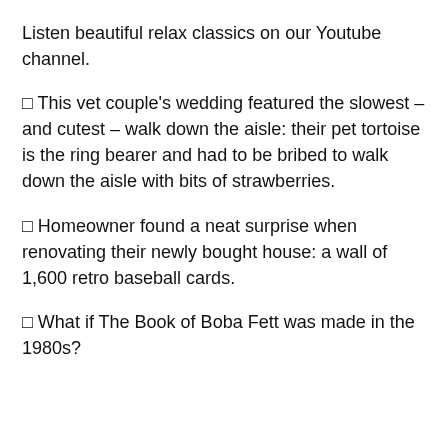Listen beautiful relax classics on our Youtube channel.
🔲 This vet couple's wedding featured the slowest – and cutest – walk down the aisle: their pet tortoise is the ring bearer and had to be bribed to walk down the aisle with bits of strawberries.
🔲 Homeowner found a neat surprise when renovating their newly bought house: a wall of 1,600 retro baseball cards.
🔲 What if The Book of Boba Fett was made in the 1980s?